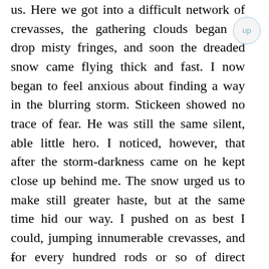us. Here we got into a difficult network of crevasses, the gathering clouds began to drop misty fringes, and soon the dreaded snow came flying thick and fast. I now began to feel anxious about finding a way in the blurring storm. Stickeen showed no trace of fear. He was still the same silent, able little hero. I noticed, however, that after the storm-darkness came on he kept close up behind me. The snow urged us to make still greater haste, but at the same time hid our way. I pushed on as best I could, jumping innumerable crevasses, and for every hundred rods or so of direct advance traveling a mile in doubling up and down in the turmoil of chasms and
v